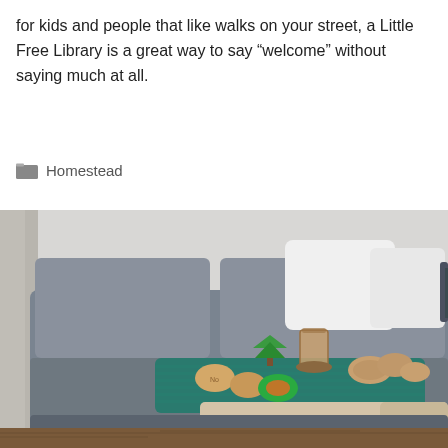for kids and people that like walks on your street, a Little Free Library is a great way to say “welcome” without saying much at all.
Homestead
[Figure (photo): Photo of a grey sectional sofa with white pillows, a teal blanket draped over the armrest on which cookies, wooden disc ornaments, and a glass of chocolate drink are arranged on top. Hardwood floor visible beneath.]